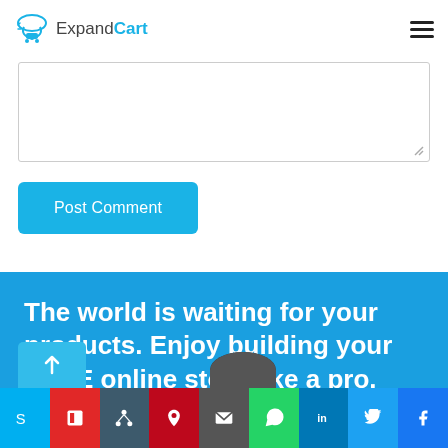ExpandCart
[Figure (screenshot): Text area input box for posting a comment]
[Figure (screenshot): Post Comment button in blue]
The world is waiting for your products. Enjoy building your FREE online store like a pro.
[Figure (infographic): Social sharing bar with icons: Skype, Flipboard, Buffer, Pinterest, Email, WhatsApp, LinkedIn, Twitter, Facebook]